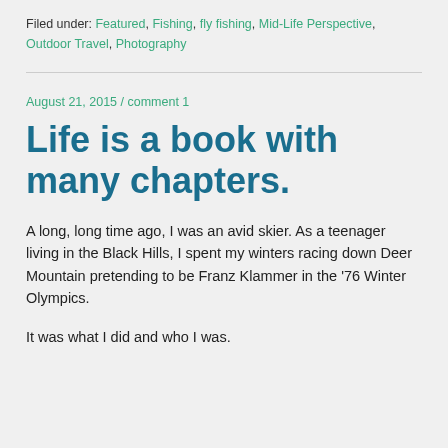Filed under: Featured, Fishing, fly fishing, Mid-Life Perspective, Outdoor Travel, Photography
August 21, 2015 / comment 1
Life is a book with many chapters.
A long, long time ago, I was an avid skier. As a teenager living in the Black Hills, I spent my winters racing down Deer Mountain pretending to be Franz Klammer in the '76 Winter Olympics.
It was what I did and who I was.